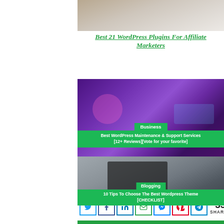[Figure (photo): Partial image at top - person at desk with laptop]
Best 21 WordPress Plugins For Affiliate Marketers
[Figure (photo): Purple/pink themed image with headphones and keyboard, Business banner overlay reading: Best WordPress Maintenance & Support Services [12+ Reviews][Vote for your favorite]]
Best WordPress Mainteance and Support Services
[Figure (photo): Dark laptop on desk image, Blogging banner overlay reading: 10 Tips To Choose The Best Wordpress Theme [CHECKLIST]]
[Figure (infographic): Social share bar with Twitter, Facebook, LinkedIn, Email, Messenger, Pinterest, Telegram icons and 33 SHARES count]